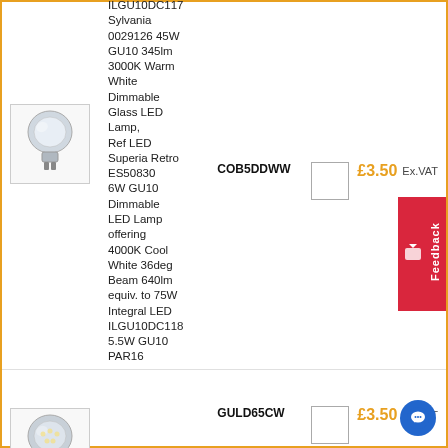[Figure (photo): GU10 LED lamp product image, top item]
ILGU10DC117 Sylvania 0029126 45W GU10 345lm 3000K Warm White Dimmable Glass LED Lamp, Ref LED Superia Retro ES50830 6W GU10 Dimmable LED Lamp offering 4000K Cool White 36deg Beam 640lm equiv. to 75W Integral LED ILGU10DC118 5.5W GU10 PAR16
COB5DDWW
£3.50 Ex.VAT
[Figure (photo): GU10 LED lamp product image, bottom item]
GULD65CW
£3.50 Ex.VAT